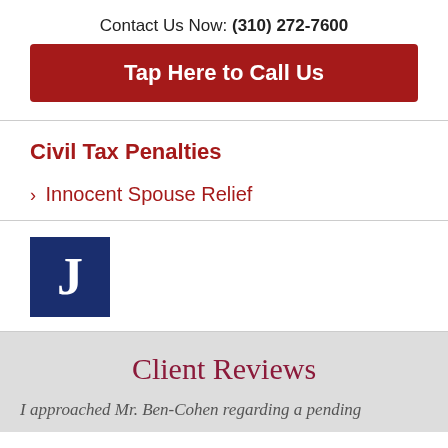Contact Us Now: (310) 272-7600
Tap Here to Call Us
Civil Tax Penalties
› Innocent Spouse Relief
[Figure (logo): Blue square logo with white letter J]
Client Reviews
I approached Mr. Ben-Cohen regarding a pending